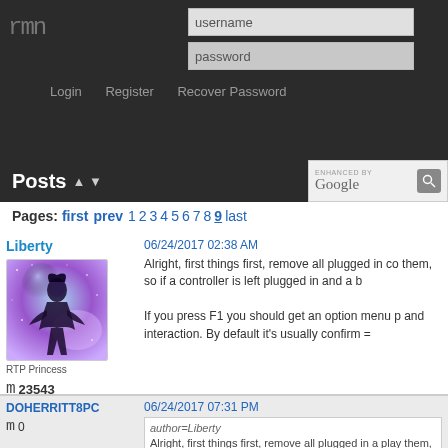rmn | username | password | Login | Register | Recover Password
Posts
ENHANCED BY Google
Pages: first prev 1 2 3 4 5 6 7 8 9 last
Liberty
[Figure (illustration): Avatar image of a glowing cosmic female silhouette against a starfield background]
RTP Princess
23543
06/24/2017 02:38 AM
Alright, first things first, remove all plugged in co them, so if a controller is left plugged in and a b

If you press F1 you should get an option menu p and interaction. By default it's usually confirm =
DOHERRITT8PC
0
06/24/2017 07:31 PM
author=Liberty
Alright, first things first, remove all plugged in a play them, so if a controller is left plugged in a

If you press F1 you should get an option men